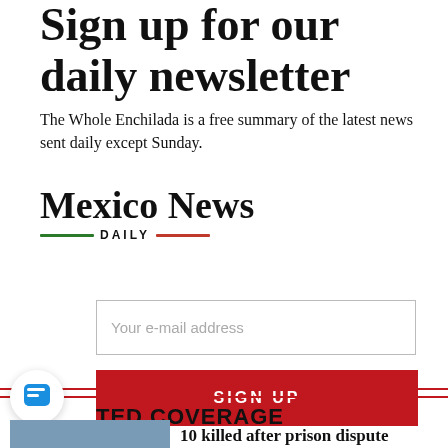Sign up for our daily newsletter
The Whole Enchilada is a free summary of the latest news sent daily except Sunday.
[Figure (logo): Mexico News Daily logo with green and red underlines flanking the word DAILY]
Your e-mail address
SIGN UP
TED COVERAGE
10 killed after prison dispute